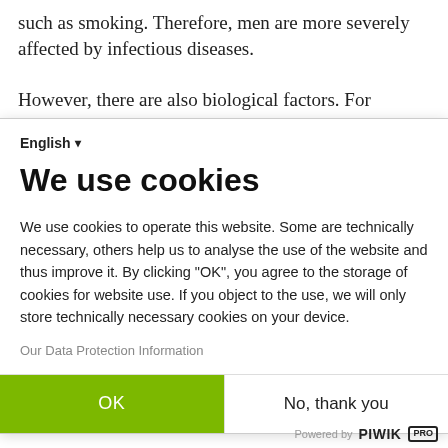such as smoking. Therefore, men are more severely affected by infectious diseases.
However, there are also biological factors. For example, experts assume that women mount stronger immune responses to vaccination (of
English ▾
We use cookies
We use cookies to operate this website. Some are technically necessary, others help us to analyse the use of the website and thus improve it. By clicking "OK", you agree to the storage of cookies for website use. If you object to the use, we will only store technically necessary cookies on your device.
Our Data Protection Information
OK
No, thank you
Powered by PIWIK PRO